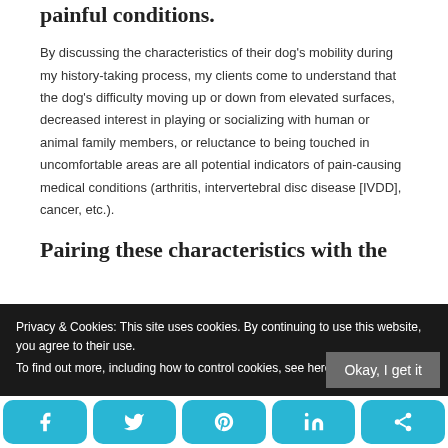painful conditions.
By discussing the characteristics of their dog's mobility during my history-taking process, my clients come to understand that the dog's difficulty moving up or down from elevated surfaces, decreased interest in playing or socializing with human or animal family members, or reluctance to being touched in uncomfortable areas are all potential indicators of pain-causing medical conditions (arthritis, intervertebral disc disease [IVDD], cancer, etc.).
Pairing these characteristics with the
Privacy & Cookies: This site uses cookies. By continuing to use this website, you agree to their use.
To find out more, including how to control cookies, see here: Cookie Policy
Okay, I get it